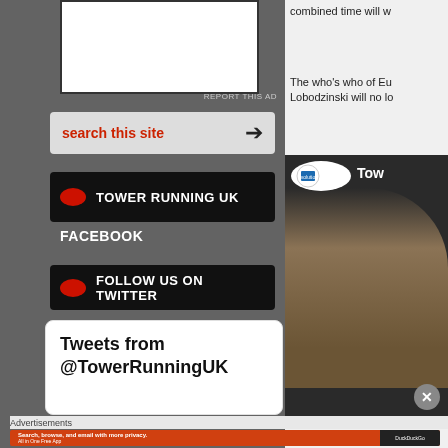[Figure (screenshot): Advertisement placeholder box (white rectangle with dark border)]
REPORT THIS AD
[Figure (screenshot): Search this site bar with red text and black arrow icon on grey brushstroke background]
[Figure (screenshot): Tower Running UK Facebook button - black brushstroke background with red oval icon and white bold text TOWER RUNNING UK, with FACEBOOK label below]
[Figure (screenshot): Follow us on Twitter button - black brushstroke background with red oval icon and white bold text FOLLOW US ON TWITTER]
[Figure (screenshot): Tweets from @TowerRunningUK widget - white rounded box]
combined time will w
The who's who of Eu Lobodzinski will no lo
[Figure (screenshot): Right column video thumbnail showing Evolution logo badge, Tower Running text, and person with blonde hair; close X button at bottom right]
Advertisements
[Figure (screenshot): DuckDuckGo advertisement banner - Search, browse, and email with more privacy. All in One Free App - orange and dark background with DuckDuckGo logo]